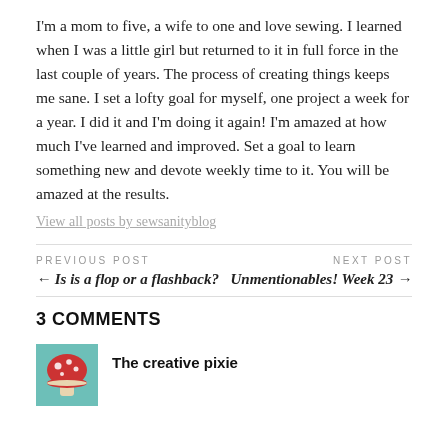I'm a mom to five, a wife to one and love sewing. I learned when I was a little girl but returned to it in full force in the last couple of years. The process of creating things keeps me sane. I set a lofty goal for myself, one project a week for a year. I did it and I'm doing it again! I'm amazed at how much I've learned and improved. Set a goal to learn something new and devote weekly time to it. You will be amazed at the results.
View all posts by sewsanityblog
PREVIOUS POST
← Is is a flop or a flashback?
NEXT POST
Unmentionables! Week 23 →
3 COMMENTS
The creative pixie